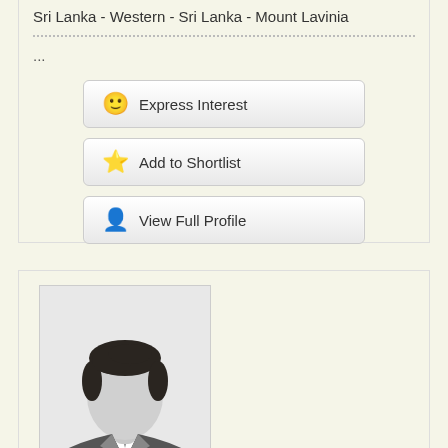Sri Lanka - Western - Sri Lanka - Mount Lavinia
...
Express Interest
Add to Shortlist
View Full Profile
[Figure (photo): Generic male silhouette profile photo placeholder, grayscale, showing head and shoulders of a faceless male figure with dark hair wearing a suit]
VHC7643 (Groom)